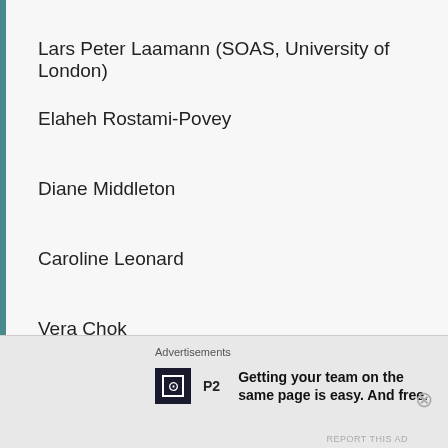Lars Peter Laamann (SOAS, University of London)
Elaheh Rostami-Povey
Diane Middleton
Caroline Leonard
Vera Chok
Merle Cady
Gargi Bhattacharyya
Advertisements
Getting your team on the same page is easy. And free.